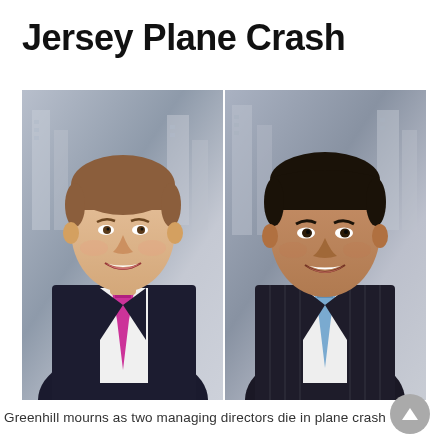Jersey Plane Crash
[Figure (photo): Side-by-side professional headshots of two men in business suits against a city building background. Left: a tall Caucasian man wearing a white shirt and pink/magenta tie. Right: a South Asian man wearing a dark pinstripe suit and light blue tie. Both are smiling.]
Greenhill mourns as two managing directors die in plane crash